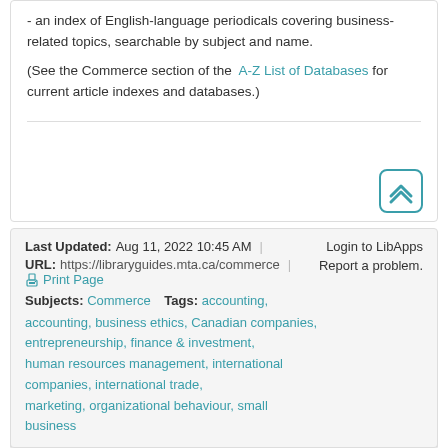- an index of English-language periodicals covering business-related topics, searchable by subject and name.
(See the Commerce section of the A-Z List of Databases for current article indexes and databases.)
Last Updated: Aug 11, 2022 10:45 AM
URL: https://libraryguides.mta.ca/commerce
Print Page
Login to LibApps
Report a problem.
Subjects: Commerce   Tags: accounting, business ethics, Canadian companies, entrepreneurship, finance & investment, human resources management, international companies, international trade, marketing, organizational behaviour, small business